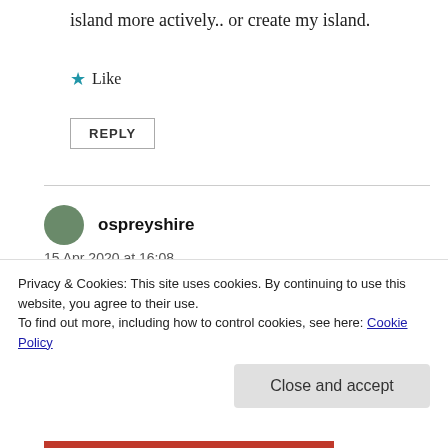island more actively.. or create my island.
★ Like
REPLY
ospreyshire
15 Apr 2020 at 16:08
That certainly is a lot to go through. I've dealt with my own anxieties and other things. My life has gotten so busy that I didn't have time to post
Privacy & Cookies: This site uses cookies. By continuing to use this website, you agree to their use.
To find out more, including how to control cookies, see here: Cookie Policy
Close and accept